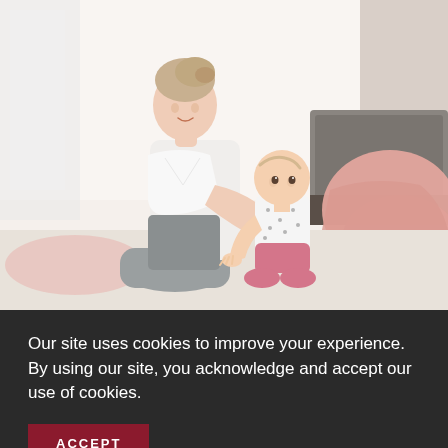[Figure (photo): A young woman with hair pulled back, wearing a white t-shirt and grey pants, sits on a light-colored carpeted floor next to a bed with a pink/salmon knit blanket draped over it. She is supporting a baby dressed in a white onesie with small prints and pink pants, who is learning to crawl or stand. The room has a bright, airy feel with light curtains in the background. There is also a pink fluffy rug visible to the left.]
Our site uses cookies to improve your experience. By using our site, you acknowledge and accept our use of cookies.
ACCEPT